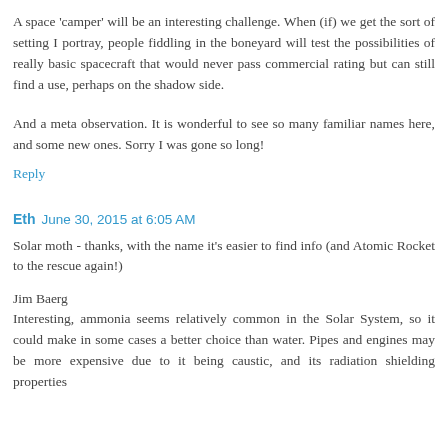A space 'camper' will be an interesting challenge. When (if) we get the sort of setting I portray, people fiddling in the boneyard will test the possibilities of really basic spacecraft that would never pass commercial rating but can still find a use, perhaps on the shadow side.
And a meta observation. It is wonderful to see so many familiar names here, and some new ones. Sorry I was gone so long!
Reply
Eth  June 30, 2015 at 6:05 AM
Solar moth - thanks, with the name it's easier to find info (and Atomic Rocket to the rescue again!)
Jim Baerg
Interesting, ammonia seems relatively common in the Solar System, so it could make in some cases a better choice than water. Pipes and engines may be more expensive due to it being caustic, and its radiation shielding properties